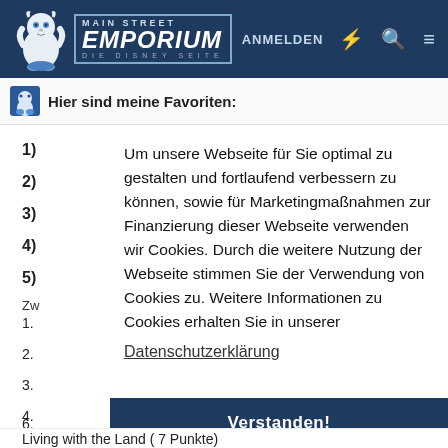MAIN STREET EMPORIUM – DIE DISNEY SEITE | ANMELDEN
Hier sind meine Favoriten:
1)
2)
3)
4)
5)
Zw
1.
2.
3.
4.
5.
Um unsere Webseite für Sie optimal zu gestalten und fortlaufend verbessern zu können, sowie für Marketingmaßnahmen zur Finanzierung dieser Webseite verwenden wir Cookies. Durch die weitere Nutzung der Webseite stimmen Sie der Verwendung von Cookies zu. Weitere Informationen zu Cookies erhalten Sie in unserer Datenschutzerklärung
Verstanden!
6. Living with the Land ( 7 Punkte)